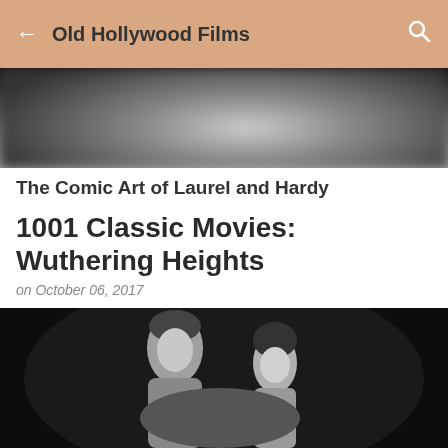Old Hollywood Films
[Figure (photo): Blurred dark banner image at the top of the article page]
The Comic Art of Laurel and Hardy
1001 Classic Movies: Wuthering Heights
on October 06, 2017
[Figure (illustration): Share icon (orange/salmon colored network share symbol)]
[Figure (photo): Black and white photograph of a man and woman, appearing to be a still from Wuthering Heights (1939)]